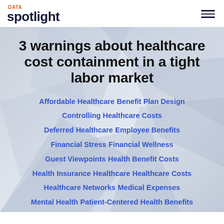DATA spotlight
3 warnings about healthcare cost containment in a tight labor market
Affordable Healthcare
Benefit Plan Design
Controlling Healthcare Costs
Deferred Healthcare
Employee Benefits
Financial Stress
Financial Wellness
Guest Viewpoints
Health Benefit Costs
Health Insurance
Healthcare
Healthcare Costs
Healthcare Networks
Medical Expenses
Mental Health
Patient-Centered Health Benefits
Pharma/PBMs
Pharmaceutical Costs